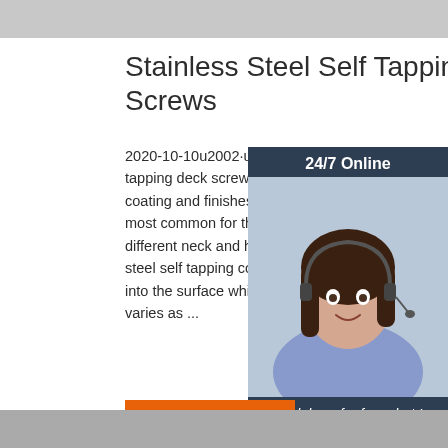[Figure (photo): Top gray/silver metallic banner strip]
Stainless Steel Self Tapping Screws
2020-10-10u2002·u2002The stainless steel self tapping deck screws can also come in different coating and finishes. The silver slide coating most common for these screws. There are also different neck and head types such as the stainless steel self tapping countersunk screws which into the surface while driven in. The thread type varies as ...
[Figure (photo): Customer service representative with headset smiling, shown in chat widget sidebar with dark navy background]
[Figure (other): Get Price orange button]
[Figure (photo): Bottom gray/silver metallic banner strip]